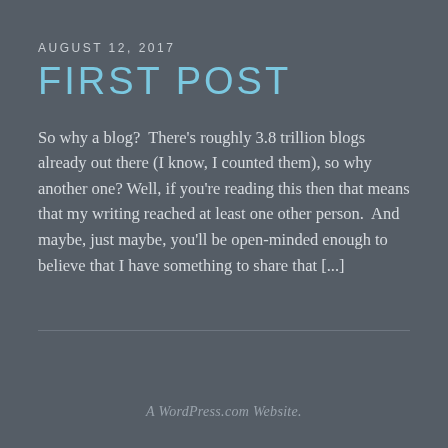AUGUST 12, 2017
FIRST POST
So why a blog?  There's roughly 3.8 trillion blogs already out there (I know, I counted them), so why another one? Well, if you're reading this then that means that my writing reached at least one other person.  And maybe, just maybe, you'll be open-minded enough to believe that I have something to share that [...]
A WordPress.com Website.